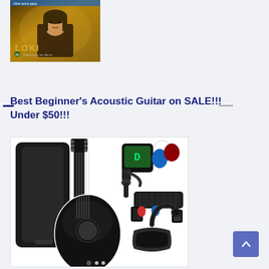[Figure (photo): Movie/show promotional thumbnail for Loki, showing a man with long hair against a golden background with 'LOKI' text and logo overlay.]
Best Beginner's Acoustic Guitar on SALE!!! Under $50!!!
[Figure (photo): Black acoustic guitar shown with accessories including a gig bag, clip-on tuner with green display, guitar picks, strap, and capo on a white background.]